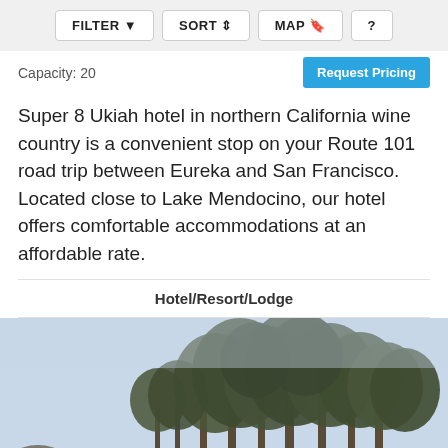FILTER  SORT  MAP  ?
Capacity: 20
Request Pricing
Super 8 Ukiah hotel in northern California wine country is a convenient stop on your Route 101 road trip between Eureka and San Francisco. Located close to Lake Mendocino, our hotel offers comfortable accommodations at an affordable rate.
Hotel/Resort/Lodge
[Figure (photo): Outdoor wedding ceremony on a coastal lawn with large trees and rocky ocean views in the background; guests seated in white chairs watching the ceremony]